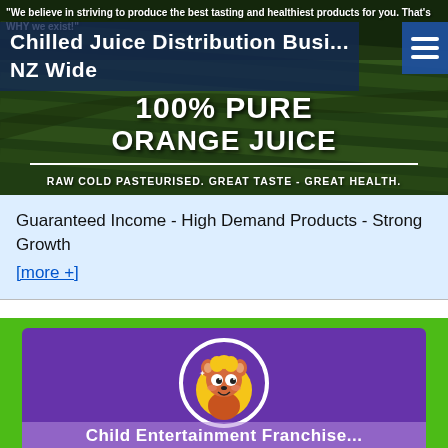[Figure (photo): Aerial view of orange grove / citrus orchard fields with dark green rows, used as background banner image for a juice distribution business listing.]
Chilled Juice Distribution Busi... NZ Wide
"We believe in striving to produce the best tasting and healthiest products for you. That's WHY we exist!"
100% PURE ORANGE JUICE
RAW COLD PASTEURISED. GREAT TASTE - GREAT HEALTH.
Guaranteed Income - High Demand Products - Strong Growth
[more +]
[Figure (illustration): Cartoon squirrel/chipmunk mascot character in a white circle on purple background for a Child Entertainment Franchise listing.]
Child Entertainment Franchise...